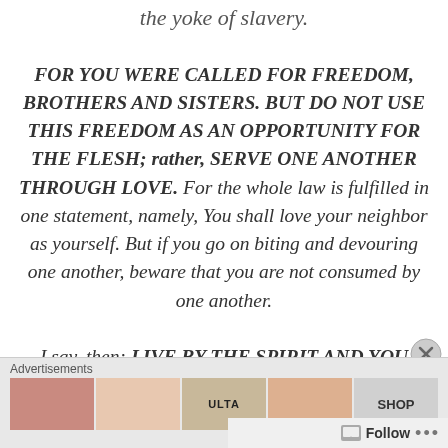the yoke of slavery.
FOR YOU WERE CALLED FOR FREEDOM, BROTHERS AND SISTERS. BUT DO NOT USE THIS FREEDOM AS AN OPPORTUNITY FOR THE FLESH; rather, SERVE ONE ANOTHER THROUGH LOVE. For the whole law is fulfilled in one statement, namely, You shall love your neighbor as yourself. But if you go on biting and devouring one another, beware that you are not consumed by one another.
I say, then: LIVE BY THE SPIRIT AND YOU WILL
Advertisements